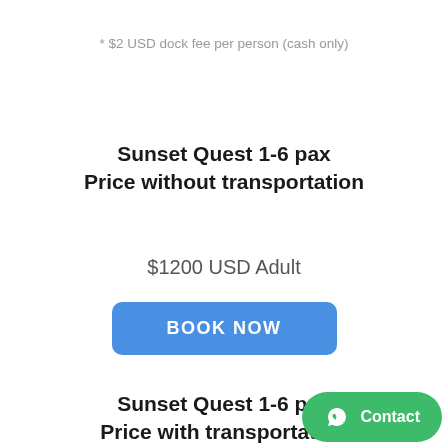* $2 USD dock fee per person (cash only)
Sunset Quest 1-6 pax
Price without transportation
$1200 USD Adult
[Figure (other): Blue 'BOOK NOW' button with rounded corners]
Sunset Quest 1-6 pax
Price with transportation
[Figure (other): Green WhatsApp-style 'Contact' button in bottom right corner]